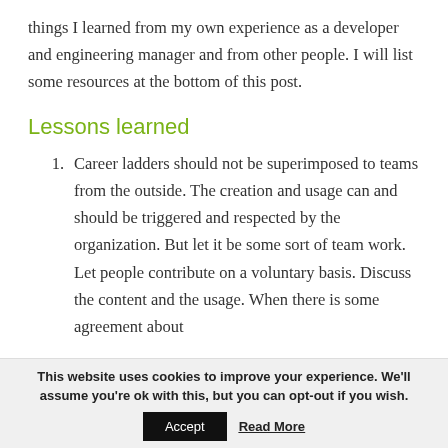things I learned from my own experience as a developer and engineering manager and from other people. I will list some resources at the bottom of this post.
Lessons learned
Career ladders should not be superimposed to teams from the outside. The creation and usage can and should be triggered and respected by the organization. But let it be some sort of team work. Let people contribute on a voluntary basis. Discuss the content and the usage. When there is some agreement about
This website uses cookies to improve your experience. We'll assume you're ok with this, but you can opt-out if you wish.